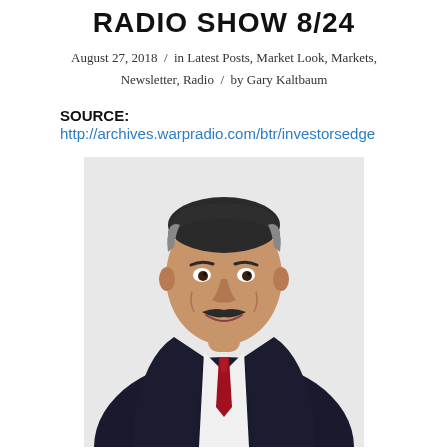RADIO SHOW 8/24
August 27, 2018 / in Latest Posts, Market Look, Markets, Newsletter, Radio / by Gary Kaltbaum
SOURCE: http://archives.warpradio.com/btr/investorsedge
[Figure (photo): Professional headshot of Gary Kaltbaum, a middle-aged man in a dark pinstripe suit with white shirt and red tie, smiling at camera]